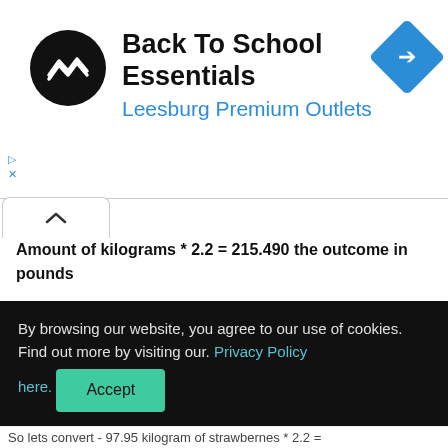[Figure (logo): Back To School Essentials ad banner with circular black logo with double arrow symbol, blue navigation diamond icon, and blue subtitle 'Leesburg Premium Outlets']
So 97.95 kg equal to how much lbs? And again, you need to multiply number of kilogram, in this case 97.95, by 2.2. Let's see: 97.95 * 2.2 = 215.490. So 97.95 kilogram is equal 2.2 pounds.
By browsing our website, you agree to our use of cookies. Find out more by visiting our. Privacy Policy here. Accept
So lets convert - 97.95 kilogram of strawberries * 2.2 =